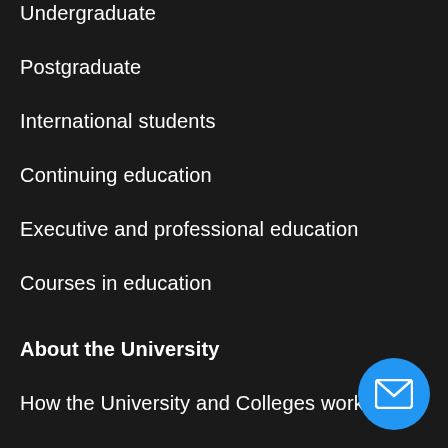Undergraduate
Postgraduate
International students
Continuing education
Executive and professional education
Courses in education
About the University
How the University and Colleges work
Visiting the University
Map
News
Events
[Figure (illustration): Blue circular button with white envelope/mail icon in bottom right corner]